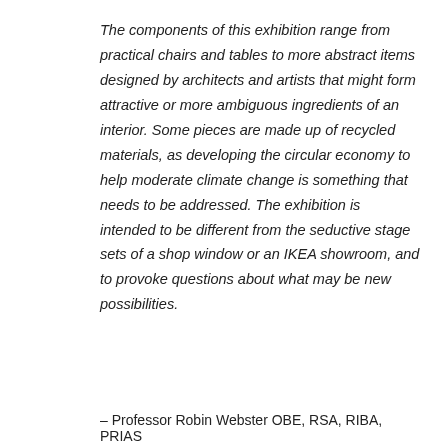The components of this exhibition range from practical chairs and tables to more abstract items designed by architects and artists that might form attractive or more ambiguous ingredients of an interior. Some pieces are made up of recycled materials, as developing the circular economy to help moderate climate change is something that needs to be addressed. The exhibition is intended to be different from the seductive stage sets of a shop window or an IKEA showroom, and to provoke questions about what may be new possibilities.
– Professor Robin Webster OBE, RSA, RIBA, PRIAS